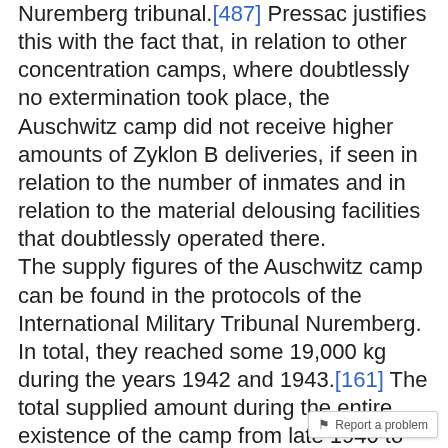Nuremberg tribunal.[487] Pressac justifies this with the fact that, in relation to other concentration camps, where doubtlessly no extermination took place, the Auschwitz camp did not receive higher amounts of Zyklon B deliveries, if seen in relation to the number of inmates and in relation to the material delousing facilities that doubtlessly operated there. The supply figures of the Auschwitz camp can be found in the protocols of the International Military Tribunal Nuremberg. In total, they reached some 19,000 kg during the years 1942 and 1943.[161] The total supplied amount during the entire existence of the camp from late 1940 to early 1945 will hardly have exceeded 40 tons. According to Pressac's statement that not 2-5% of this was used [...]